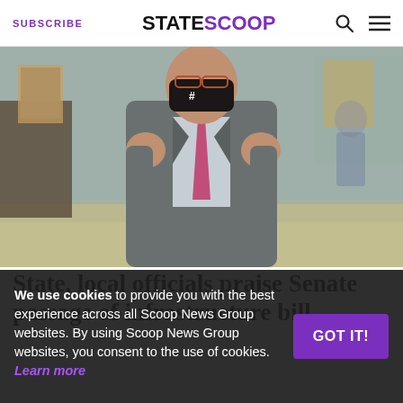SUBSCRIBE | STATESCOOP | [search icon] [menu icon]
[Figure (photo): A politician in a gray suit and pink tie wearing a black face mask with text, raising both fists in a celebratory gesture, standing in what appears to be a marble government building hallway with portraits on the walls.]
State, local officials praise Senate passage of infrastructure bill
We use cookies to provide you with the best experience across all Scoop News Group websites. By using Scoop News Group websites, you consent to the use of cookies. Learn more
GOT IT!